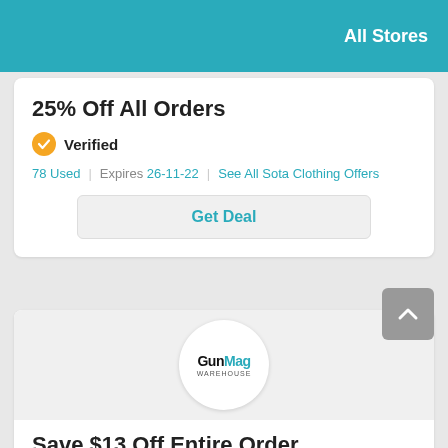All Stores
25% Off All Orders
Verified
78 Used | Expires 26-11-22 | See All Sota Clothing Offers
Get Deal
[Figure (logo): GunMag Warehouse store logo in white circle on grey background]
Save $13 Off Entire Order
Verified
67 Used | Expires 26-11-22 | See All GunMag Warehouse Offers